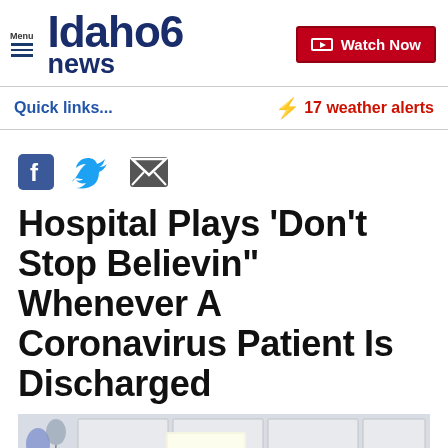Idaho news 6 — Menu | Watch Now
Quick links...
⚡ 17 weather alerts
[Figure (logo): Social share icons: Facebook, Twitter, Email]
Hospital Plays 'Don't Stop Believin" Whenever A Coronavirus Patient Is Discharged
[Figure (photo): Hospital ceiling with drop tiles and fluorescent lighting, balloons visible at left edge]